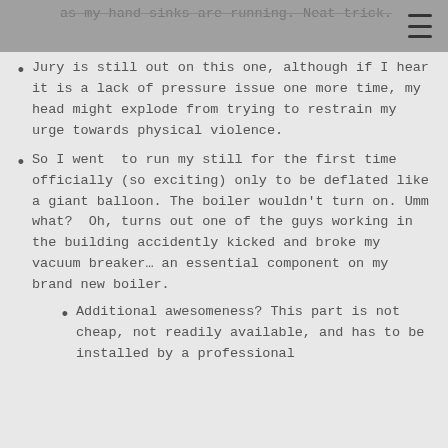as my hand sinks are running.  Neat trick.
Jury is still out on this one, although if I hear it is a lack of pressure issue one more time, my head might explode from trying to restrain my urge towards physical violence.
So I went  to run my still for the first time officially (so exciting) only to be deflated like a giant balloon. The boiler wouldn't turn on. Umm what?  Oh, turns out one of the guys working in the building accidently kicked and broke my vacuum breaker… an essential component on my brand new boiler.
Additional awesomeness? This part is not cheap, not readily available, and has to be installed by a professional